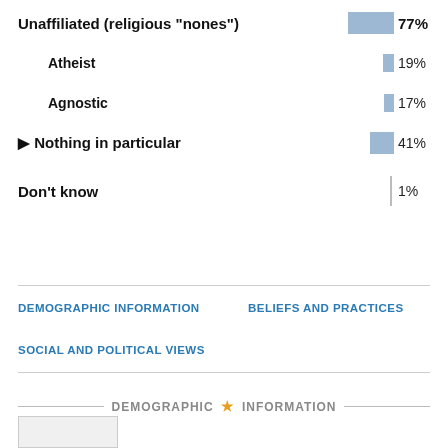[Figure (bar-chart): Religious affiliation breakdown]
DEMOGRAPHIC INFORMATION
BELIEFS AND PRACTICES
SOCIAL AND POLITICAL VIEWS
DEMOGRAPHIC ★ INFORMATION